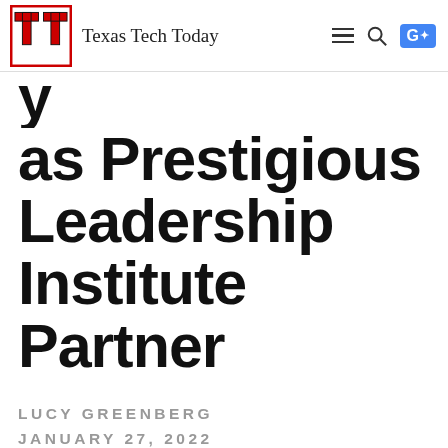Texas Tech Today
as Prestigious Leadership Institute Partner
LUCY GREENBERG
JANUARY 27, 2022